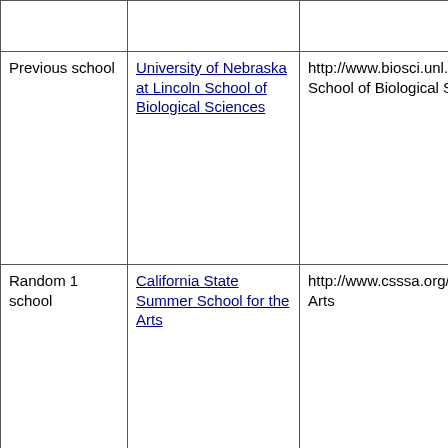|  |  |  |
| Previous school | University of Nebraska at Lincoln School of Biological Sciences | http://www.biosci.unl.edu/ University of Nebraska at Lincoln School of Biological Sciences |
| Random 1 school | California State Summer School for the Arts | http://www.csssa.org/ California State Summer School for the Arts |
|  | Wickliffe |  |